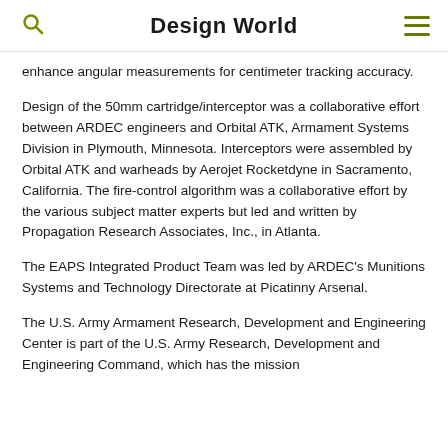Design World
enhance angular measurements for centimeter tracking accuracy.
Design of the 50mm cartridge/interceptor was a collaborative effort between ARDEC engineers and Orbital ATK, Armament Systems Division in Plymouth, Minnesota. Interceptors were assembled by Orbital ATK and warheads by Aerojet Rocketdyne in Sacramento, California. The fire-control algorithm was a collaborative effort by the various subject matter experts but led and written by Propagation Research Associates, Inc., in Atlanta.
The EAPS Integrated Product Team was led by ARDEC's Munitions Systems and Technology Directorate at Picatinny Arsenal.
The U.S. Army Armament Research, Development and Engineering Center is part of the U.S. Army Research, Development and Engineering Command, which has the mission